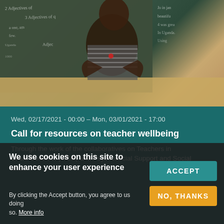[Figure (photo): A smiling woman teacher standing with arms crossed in front of a chalkboard with writing on it, in a classroom setting.]
Wed, 02/17/2021 - 00:00 - Mon, 03/01/2021 - 17:00
Call for resources on teacher wellbeing
Through the work of the collaboratives on Teachers in Crisis Contexts (TiCC) and Psychosocial Support and Social and...
We use cookies on this site to enhance your user experience
By clicking the Accept button, you agree to us doing so. More info